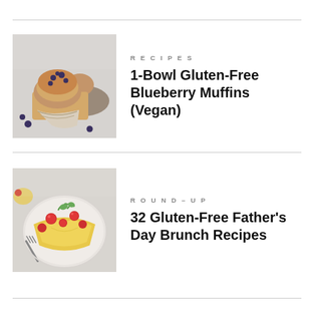[Figure (photo): Blueberry muffins stacked on a plate, with more muffins in a baking tray in the background, on a light gray surface.]
RECIPES
1-Bowl Gluten-Free Blueberry Muffins (Vegan)
[Figure (photo): A plate with yellow crepes or pancakes topped with cherry tomatoes, herbs, and a fork, with more food items visible in the background on a light gray surface.]
ROUND-UP
32 Gluten-Free Father's Day Brunch Recipes